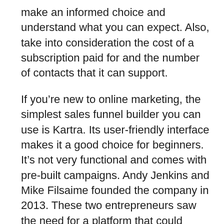make an informed choice and understand what you can expect. Also, take into consideration the cost of a subscription paid for and the number of contacts that it can support.
If you're new to online marketing, the simplest sales funnel builder you can use is Kartra. Its user-friendly interface makes it a good choice for beginners. It's not very functional and comes with pre-built campaigns. Andy Jenkins and Mike Filsaime founded the company in 2013. These two entrepreneurs saw the need for a platform that could assist them in running their businesses and came up with Kartra. The Kartra founders eventually split.